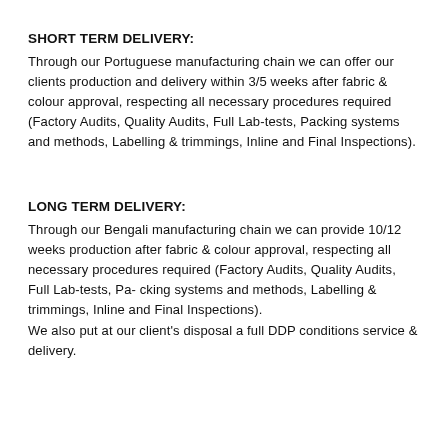SHORT TERM DELIVERY:
Through our Portuguese manufacturing chain we can offer our clients production and delivery within 3/5 weeks after fabric & colour approval, respecting all necessary procedures required (Factory Audits, Quality Audits, Full Lab-tests, Packing systems and methods, Labelling & trimmings, Inline and Final Inspections).
LONG TERM DELIVERY:
Through our Bengali manufacturing chain we can provide 10/12 weeks production after fabric & colour approval, respecting all necessary procedures required (Factory Audits, Quality Audits, Full Lab-tests, Pa- cking systems and methods, Labelling & trimmings, Inline and Final Inspections).
We also put at our client's disposal a full DDP conditions service & delivery.